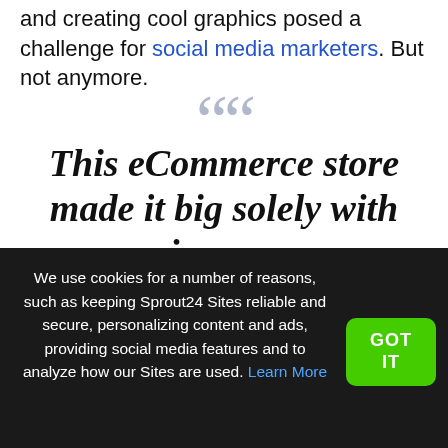and creating cool graphics posed a challenge for social media marketers. But not anymore.
"This eCommerce store made it big solely with images
We use cookies for a number of reasons, such as keeping Sprout24 Sites reliable and secure, personalizing content and ads, providing social media features and to analyze how our Sites are used. Learn More
GOT IT